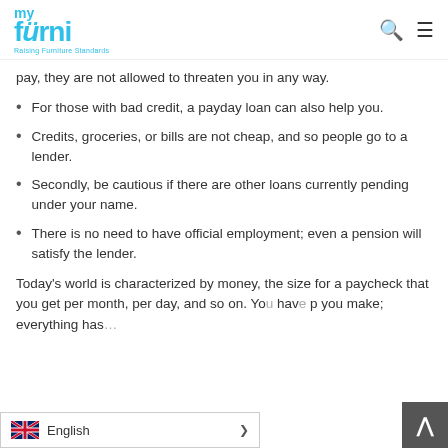my furni — Raising Furniture Standards
pay, they are not allowed to threaten you in any way.
For those with bad credit, a payday loan can also help you.
Credits, groceries, or bills are not cheap, and so people go to a lender.
Secondly, be cautious if there are other loans currently pending under your name.
There is no need to have official employment; even a pension will satisfy the lender.
Today's world is characterized by money, the size for a paycheck that you get per month, per day, and so on. You hav… p you make; everything has…